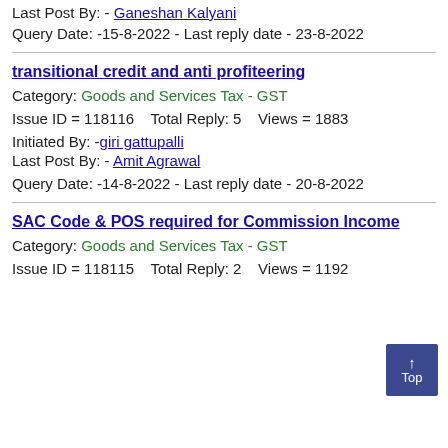Last Post By: - Ganeshan Kalyani
Query Date: -15-8-2022 - Last reply date - 23-8-2022
transitional credit and anti profiteering
Category: Goods and Services Tax - GST
Issue ID = 118116    Total Reply: 5    Views = 1883
Initiated By: -giri gattupalli
Last Post By: - Amit Agrawal
Query Date: -14-8-2022 - Last reply date - 20-8-2022
SAC Code & POS required for Commission Income
Category: Goods and Services Tax - GST
Issue ID = 118115    Total Reply: 2    Views = 1192